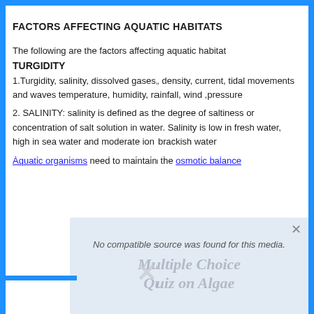FACTORS AFFECTING AQUATIC HABITATS
The following are the factors affecting aquatic habitat
TURGIDITY
1.Turgidity, salinity, dissolved gases, density, current, tidal movements and waves temperature, humidity, rainfall, wind ,pressure
2. SALINITY: salinity is defined as the degree of saltiness or concentration of salt solution in water. Salinity is low in fresh water, high in sea water and moderate ion brackish water
Aquatic organisms need to maintain the osmotic balance
[Figure (screenshot): Video player overlay showing 'No compatible source was found for this media.' message with a watermark reading 'Multiple Choice Quiz on Algae']